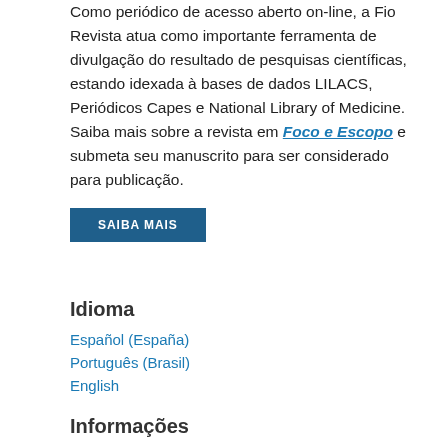Como periódico de acesso aberto on-line, a Fio Revista atua como importante ferramenta de divulgação do resultado de pesquisas científicas, estando idexada à bases de dados LILACS, Periódicos Capes e National Library of Medicine. Saiba mais sobre a revista em Foco e Escopo e submeta seu manuscrito para ser considerado para publicação.
SAIBA MAIS
Idioma
Español (España)
Português (Brasil)
English
Informações